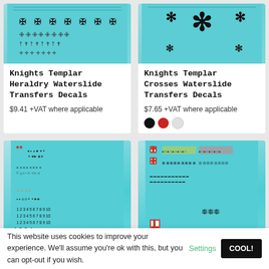[Figure (photo): Teal waterslide decal sheet with Knights Templar heraldry symbols, top-left product]
Knights Templar Heraldry Waterslide Transfers Decals
$9.41 +VAT where applicable
[Figure (photo): Teal waterslide decal sheet with Knights Templar crosses, top-right product]
Knights Templar Crosses Waterslide Transfers Decals
$7.65 +VAT where applicable
[Figure (photo): Teal waterslide decal sheet with numbers and military symbols, bottom-left product]
[Figure (photo): Teal waterslide decal sheet with military insignia and Swiss cross symbols, bottom-right product]
This website uses cookies to improve your experience. We'll assume you're ok with this, but you can opt-out if you wish.
Settings
COOL!